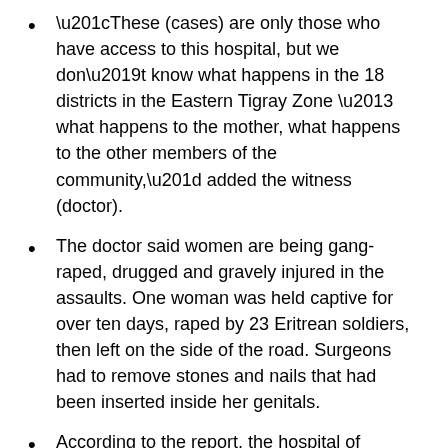“These (cases) are only those who have access to this hospital, but we don’t know what happens in the 18 districts in the Eastern Tigray Zone – what happens to the mother, what happens to the other members of the community,” added the witness (doctor).
The doctor said women are being gang-raped, drugged and gravely injured in the assaults. One woman was held captive for over ten days, raped by 23 Eritrean soldiers, then left on the side of the road. Surgeons had to remove stones and nails that had been inserted inside her genitals.
According to the report, the hospital of Adigrat has received over 174 rape survivors. But, there are likely many more cases unaccounted for in rural